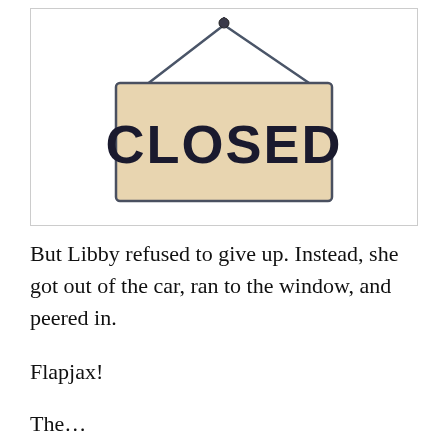[Figure (illustration): A hand-painted wooden 'CLOSED' sign hanging from two chains/strings. The sign has a warm beige/cream background with bold dark letters spelling CLOSED. The strings converge to a single hook at the top center.]
But Libby refused to give up. Instead, she got out of the car, ran to the window, and peered in.
Flapjax!
The…